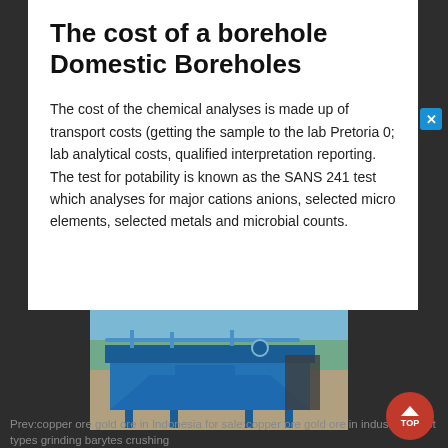The cost of a borehole Domestic Boreholes
The cost of the chemical analyses is made up of transport costs (getting the sample to the lab Pretoria 0; lab analytical costs, qualified interpretation reporting. The test for potability is known as the SANS 241 test which analyses for major cations anions, selected micro elements, selected metals and microbial counts.
[Figure (photo): Blue industrial mining or water treatment equipment (a large blue metal machine/separator) sitting outdoors on a paved surface with blue sky and trees in background.]
Prev:copper ore gold ore in Indonesia for sale:copper ore gold ore in indust Next:list types grinding barytes crushing